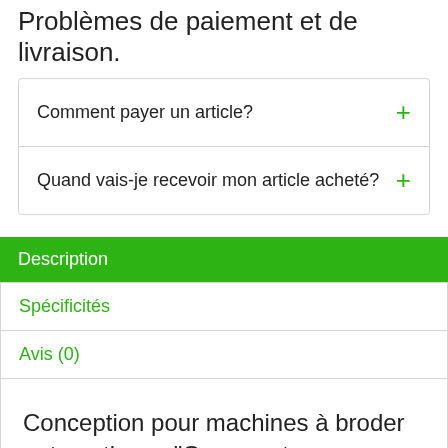Problèmes de paiement et de livraison.
Comment payer un article?
Quand vais-je recevoir mon article acheté?
Description
Spécificités
Avis (0)
Conception pour machines à broder automatiques "Ornement, avec un coeur et un papillon"